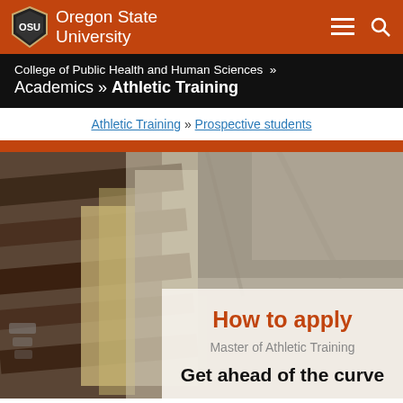Oregon State University
College of Public Health and Human Sciences » Academics » Athletic Training
Athletic Training » Prospective students
[Figure (photo): Close-up blurred photo of athletic training materials — taped body part with brown/dark tape, foam padding, and plastic wrap — used as a hero image background.]
How to apply
Master of Athletic Training
Get ahead of the curve